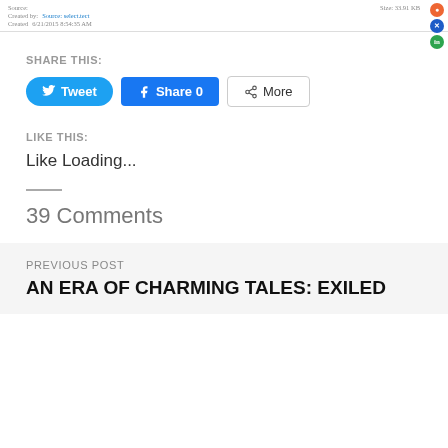Source: [link] | Created by: [name] | Created: 6/21/2015 8:54:35 AM | Size: 33.01 KB
SHARE THIS:
Tweet | Share 0 | More
LIKE THIS:
Like Loading...
39 Comments
PREVIOUS POST
AN ERA OF CHARMING TALES: EXILED